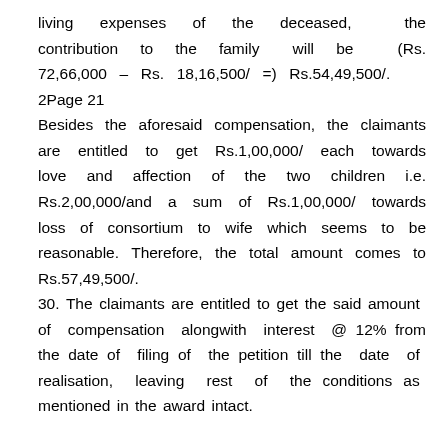living expenses of the deceased, the contribution to the family will be (Rs. 72,66,000 – Rs. 18,16,500/ =) Rs.54,49,500/.
2Page 21
Besides the aforesaid compensation, the claimants are entitled to get Rs.1,00,000/ each towards love and affection of the two children i.e. Rs.2,00,000/and a sum of Rs.1,00,000/ towards loss of consortium to wife which seems to be reasonable. Therefore, the total amount comes to Rs.57,49,500/.
30. The claimants are entitled to get the said amount of compensation alongwith interest @ 12% from the date of filing of the petition till the date of realisation, leaving rest of the conditions as mentioned in the award intact.